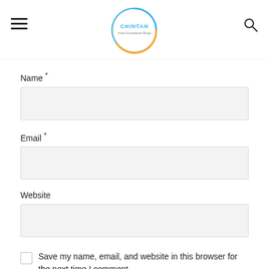CHINTAN India Foundation Blogs
Name *
Email *
Website
Save my name, email, and website in this browser for the next time I comment.
SUBMIT COMMENT